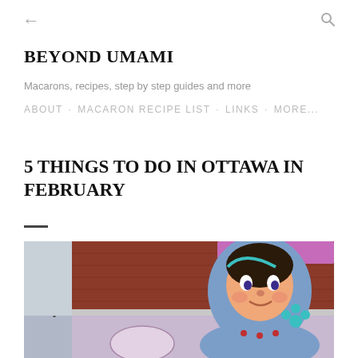← (back) and search icon
BEYOND UMAMI
Macarons, recipes, step by step guides and more
ABOUT · MACARON RECIPE LIST · LINKS · MORE...
5 THINGS TO DO IN OTTAWA IN FEBRUARY
[Figure (photo): Street mural on a brick building showing a large colorful matryoshka (Russian nesting doll) character painted on the wall, with a pink/purple banner above and a bare tree visible to the left.]